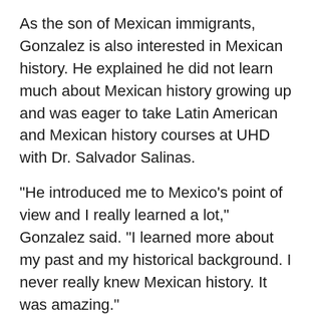As the son of Mexican immigrants, Gonzalez is also interested in Mexican history. He explained he did not learn much about Mexican history growing up and was eager to take Latin American and Mexican history courses at UHD with Dr. Salvador Salinas.
“He introduced me to Mexico’s point of view and I really learned a lot,” Gonzalez said. “I learned more about my past and my historical background. I never really knew Mexican history. It was amazing.”
Salinas appreciated having Gonzalez in his classes because he was such a strong student.
“Milton is an engaged student who brings a unique perspective to the classroom,” noted Salinas, assistant professor of history. “When discussing Mexican and Latin American history in my courses, for example, Milton demonstrated strong analytical and communication skills by offering his own interpretations of the assigned readings. His participation in my courses helped other students to